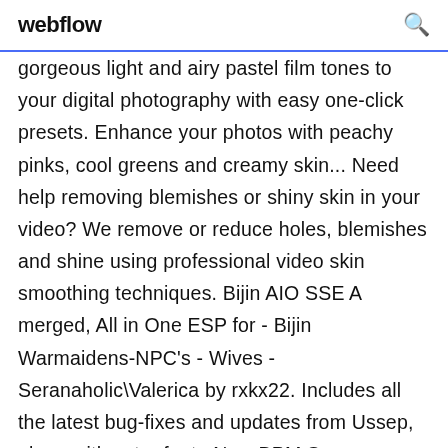webflow
gorgeous light and airy pastel film tones to your digital photography with easy one-click presets. Enhance your photos with peachy pinks, cool greens and creamy skin... Need help removing blemishes or shiny skin in your video? We remove or reduce holes, blemishes and shine using professional video skin smoothing techniques. Bijin AIO SSE A merged, All in One ESP for - Bijin Warmaidens-NPC's - Wives - Seranaholic\Valerica by rxkx22. Includes all the latest bug-fixes and updates from Ussep, along with extra featu New BPM Sync, Improved A/V Engine, Instant loading of tracks, On-Skin access to Text, Image and Video overlays, 'always-on-top' video output screen and more!